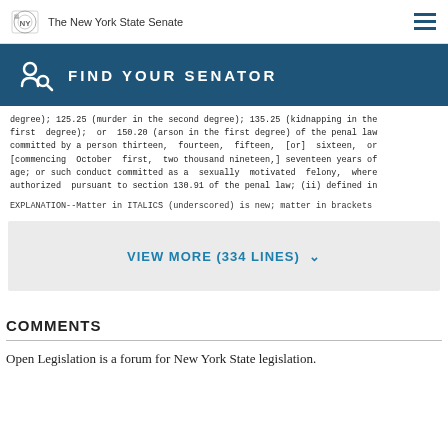The New York State Senate
[Figure (infographic): Find Your Senator banner with icon, teal background]
degree); 125.25 (murder in the second degree); 135.25 (kidnapping in the first degree); or 150.20 (arson in the first degree) of the penal law committed by a person thirteen, fourteen, fifteen, [or] sixteen, or [commencing October first, two thousand nineteen,] seventeen years of age; or such conduct committed as a sexually motivated felony, where authorized pursuant to section 130.91 of the penal law; (ii) defined in
EXPLANATION--Matter in ITALICS (underscored) is new; matter in brackets
VIEW MORE (334 LINES)
COMMENTS
Open Legislation is a forum for New York State legislation.